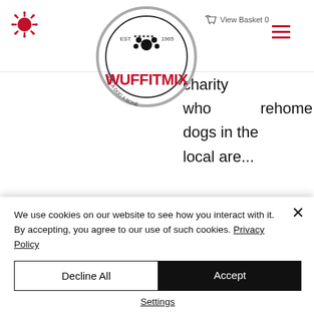Wuffitmix website header with logo, View Basket 0, and hamburger menu
[Figure (logo): Wuffitmix logo: circular grey badge with EST 1965, paw print, GIVE A DOG A BONE text around border, large red WUFFITMIX text below]
o take ad on aid of charity who rehome dogs in the local area...
[Figure (photo): Indoor photo of group of women and a golden retriever dog, appears to be a warehouse or packing facility with stacks of bags in background]
We use cookies on our website to see how you interact with it. By accepting, you agree to our use of such cookies. Privacy Policy
Decline All
Accept
Settings